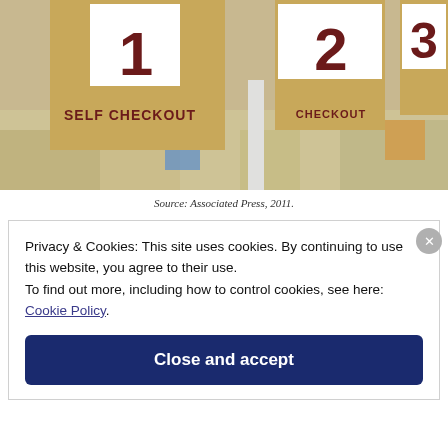[Figure (photo): Photograph of grocery store self-checkout lanes with numbered signs (1, 2, 3) and 'SELF CHECKOUT' text on tan/brown signage boards, blurred store interior in background.]
Source: Associated Press, 2011.
Privacy & Cookies: This site uses cookies. By continuing to use this website, you agree to their use.
To find out more, including how to control cookies, see here: Cookie Policy.
Close and accept